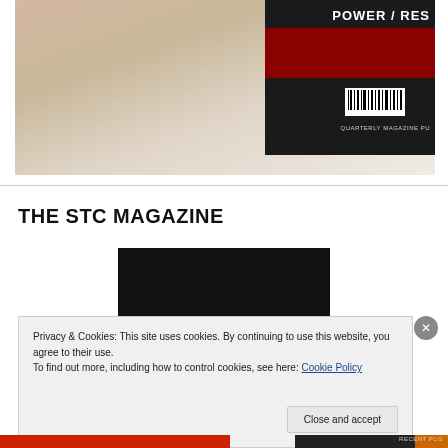[Figure (photo): Photo of a beige/cream leather surface with a magazine in the upper right corner showing 'POWER / RES' text and a red strip with barcode. QUARTERLY MAGAZINE text visible.]
THE STC MAGAZINE
[Figure (photo): Magazine cover with Chinese characters 富游社, STC text in white and red, city skyline background, Mar./Apr. 2017 Vol. 6 Issue 2]
Privacy & Cookies: This site uses cookies. By continuing to use this website, you agree to their use.
To find out more, including how to control cookies, see here: Cookie Policy
Close and accept